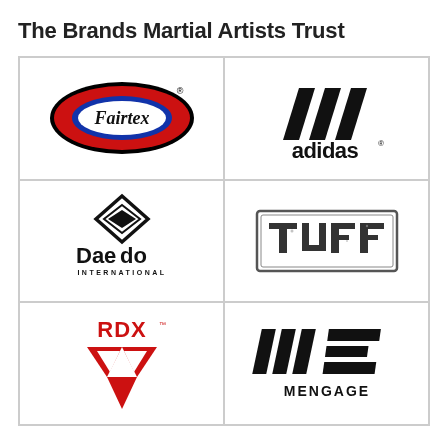The Brands Martial Artists Trust
[Figure (logo): Fairtex logo - oval shape with red outer ring, blue inner fill, white cursive Fairtex text]
[Figure (logo): Adidas logo - three black stripes mountain/trefoil mark above bold lowercase adidas text with registered trademark]
[Figure (logo): Dae Do International logo - diamond shape with inner diamond outline above bold text Dae do with INTERNATIONAL below in small caps]
[Figure (logo): TUFF logo - distressed bold block letters TUFF in a rectangular border with grunge texture]
[Figure (logo): RDX logo - red text ROX above a red angular chevron/arrow pointing down with RDX trademark symbol]
[Figure (logo): Engage MMA logo - stylized ME letters with diagonal stripes above bold MENGAGE text]